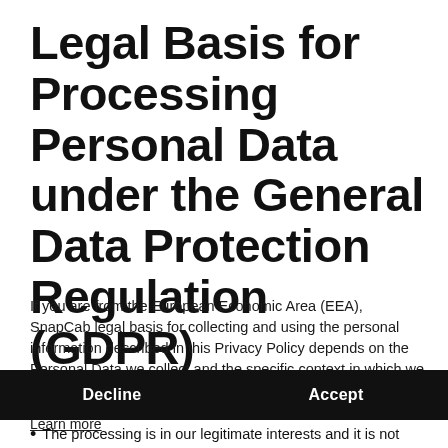Legal Basis for Processing Personal Data under the General Data Protection Regulation (GDPR)
If you are from the European Economic Area (EEA), SnapCab legal basis for collecting and using the personal information described in this Privacy Policy depends on the Personal Data we collect and the specific context in which we collect it.
This website uses cookies to ensure you get the best experience.
Learn more
Decline      Accept
The processing is in our legitimate interests and it is not